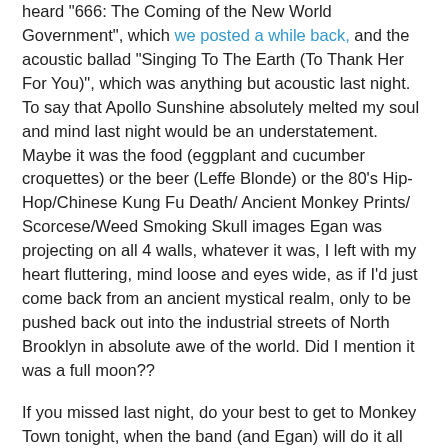heard "666: The Coming of the New World Government", which we posted a while back, and the acoustic ballad "Singing To The Earth (To Thank Her For You)", which was anything but acoustic last night. To say that Apollo Sunshine absolutely melted my soul and mind last night would be an understatement. Maybe it was the food (eggplant and cucumber croquettes) or the beer (Leffe Blonde) or the 80's Hip-Hop/Chinese Kung Fu Death/ Ancient Monkey Prints/ Scorcese/Weed Smoking Skull images Egan was projecting on all 4 walls, whatever it was, I left with my heart fluttering, mind loose and eyes wide, as if I'd just come back from an ancient mystical realm, only to be pushed back out into the industrial streets of North Brooklyn in absolute awe of the world. Did I mention it was a full moon??
If you missed last night, do your best to get to Monkey Town tonight, when the band (and Egan) will do it all again. HIGHLY REC'D.
Apollo Sunshine- 666: The Coming of the New World Government
Apollo Sunshine- Singing To The Earth (To Thank Her For You) [courtesy of ACIF]